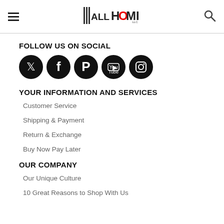ALL HOME — navigation header with hamburger menu and search icon
FOLLOW US ON SOCIAL
[Figure (illustration): Five circular black social media icons: Twitter, Facebook, Pinterest, YouTube, Instagram]
YOUR INFORMATION AND SERVICES
Customer Service
Shipping & Payment
Return & Exchange
Buy Now Pay Later
OUR COMPANY
Our Unique Culture
10 Great Reasons to Shop With Us